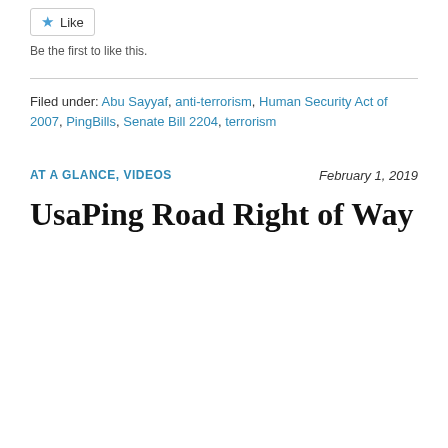Like
Be the first to like this.
Filed under: Abu Sayyaf, anti-terrorism, Human Security Act of 2007, PingBills, Senate Bill 2204, terrorism
AT A GLANCE, VIDEOS
February 1, 2019
UsaPing Road Right of Way
[Figure (photo): Black and white portrait photos of four elderly Filipino individuals side by side, and an aerial photograph of a rural Philippine village with colorful rooftops and trees below.]